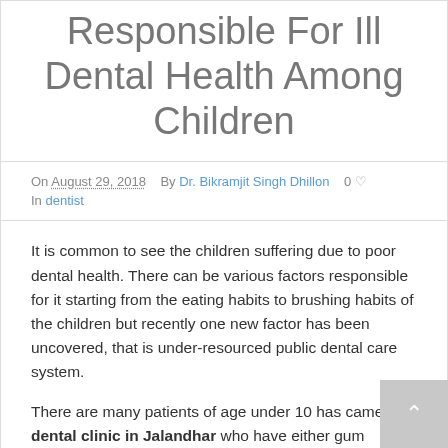Responsible For Ill Dental Health Among Children
On August 29, 2018   By Dr. Bikramjit Singh Dhillon   0 ♡
In dentist
It is common to see the children suffering due to poor dental health. There can be various factors responsible for it starting from the eating habits to brushing habits of the children but recently one new factor has been uncovered, that is under-resourced public dental care system.
There are many patients of age under 10 has came to dental clinic in Jalandhar who have either gum